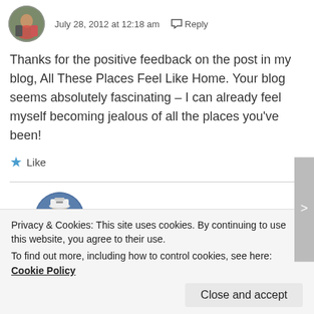[Figure (photo): Circular avatar photo of two people outdoors]
July 28, 2012 at 12:18 am   Reply
Thanks for the positive feedback on the post in my blog, All These Places Feel Like Home. Your blog seems absolutely fascinating – I can already feel myself becoming jealous of all the places you've been!
★ Like
[Figure (photo): Circular avatar photo of Victor Tribunsky wearing a captain's hat]
Victor Tribunsky
Privacy & Cookies: This site uses cookies. By continuing to use this website, you agree to their use. To find out more, including how to control cookies, see here: Cookie Policy
Close and accept